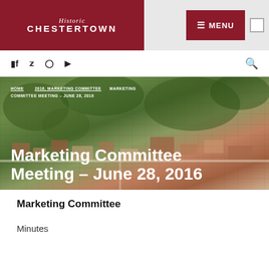Historic Chestertown — MENU
[Figure (screenshot): Navigation bar with social media icons (Facebook, Twitter, Instagram, YouTube) and search icon]
[Figure (photo): Aerial photograph of Chestertown with green trees and historic buildings serving as hero image background]
HOME  2016, MARKETING COMMITTEE  MARKETING COMMITTEE MEETING – JUNE 28, 2016
Marketing Committee Meeting – June 28, 2016
Marketing Committee
Minutes